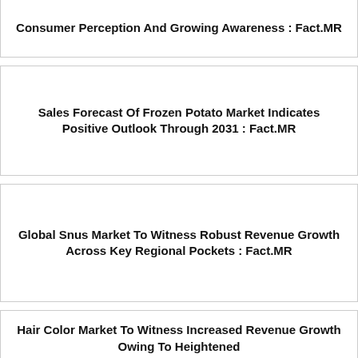Consumer Perception And Growing Awareness : Fact.MR
Sales Forecast Of Frozen Potato Market Indicates Positive Outlook Through 2031 : Fact.MR
Global Snus Market To Witness Robust Revenue Growth Across Key Regional Pockets : Fact.MR
Hair Color Market To Witness Increased Revenue Growth Owing To Heightened